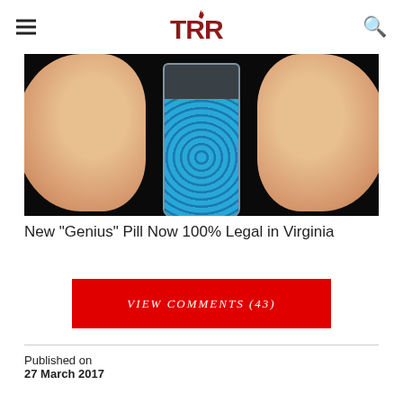TRR
[Figure (photo): Close-up photo of two fingers holding a small glass jar filled with blue pills/beads against a dark background]
New "Genius" Pill Now 100% Legal in Virginia
VIEW COMMENTS (43)
Published on
27 March 2017